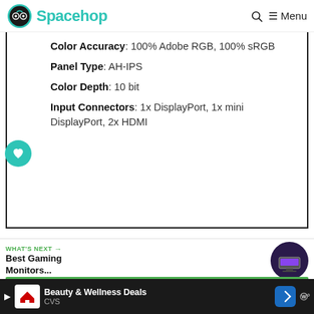Spacehop
Color Accuracy: 100% Adobe RGB, 100% sRGB
Panel Type: AH-IPS
Color Depth: 10 bit
Input Connectors: 1x DisplayPort, 1x mini DisplayPort, 2x HDMI
WHAT'S NEXT → Best Gaming Monitors...
What's Good
Beauty & Wellness Deals CVS